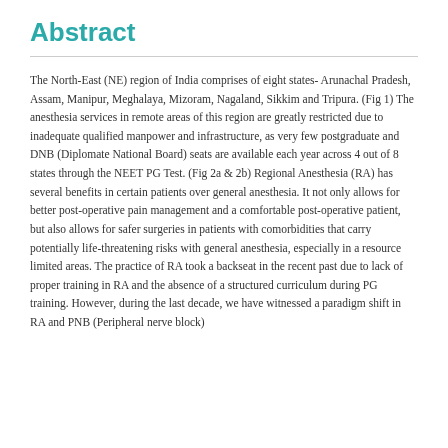Abstract
The North-East (NE) region of India comprises of eight states- Arunachal Pradesh, Assam, Manipur, Meghalaya, Mizoram, Nagaland, Sikkim and Tripura. (Fig 1) The anesthesia services in remote areas of this region are greatly restricted due to inadequate qualified manpower and infrastructure, as very few postgraduate and DNB (Diplomate National Board) seats are available each year across 4 out of 8 states through the NEET PG Test. (Fig 2a & 2b) Regional Anesthesia (RA) has several benefits in certain patients over general anesthesia. It not only allows for better post-operative pain management and a comfortable post-operative patient, but also allows for safer surgeries in patients with comorbidities that carry potentially life-threatening risks with general anesthesia, especially in a resource limited areas. The practice of RA took a backseat in the recent past due to lack of proper training in RA and the absence of a structured curriculum during PG training. However, during the last decade, we have witnessed a paradigm shift in RA and PNB (Peripheral nerve block)